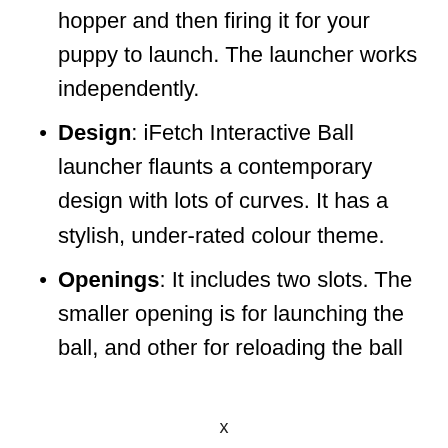hopper and then firing it for your puppy to launch. The launcher works independently.
Design: iFetch Interactive Ball launcher flaunts a contemporary design with lots of curves. It has a stylish, under-rated colour theme.
Openings: It includes two slots. The smaller opening is for launching the ball, and other for reloading the ball